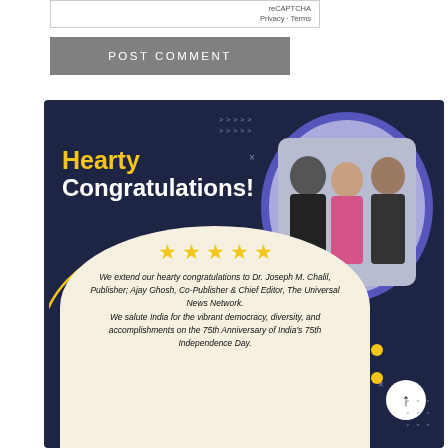[Figure (screenshot): reCAPTCHA widget showing Privacy and Terms links]
POST COMMENT
[Figure (infographic): Congratulations banner with dark blue background featuring 'Hearty Congratulations!' text in yellow and white, a circular photo of three people (two men and a woman in Indian attire), five yellow stars, cream oval section with text: 'We extend our hearty congratulations to Dr. Joseph M. Chalil, Publisher; Ajay Ghosh, Co-Publisher & Chief Editor, The Universal News Network. We salute India for the vibrant democracy, diversity, and accomplishments on the 75th Anniversary of India's 75th Independence Day.']